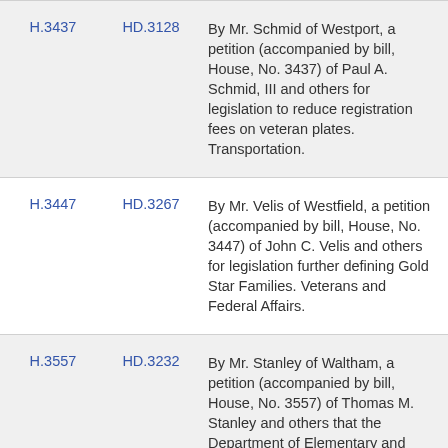| Bill | HD | Description |
| --- | --- | --- |
| H.3437 | HD.3128 | By Mr. Schmid of Westport, a petition (accompanied by bill, House, No. 3437) of Paul A. Schmid, III and others for legislation to reduce registration fees on veteran plates. Transportation. |
| H.3447 | HD.3267 | By Mr. Velis of Westfield, a petition (accompanied by bill, House, No. 3447) of John C. Velis and others for legislation further defining Gold Star Families. Veterans and Federal Affairs. |
| H.3557 | HD.3232 | By Mr. Stanley of Waltham, a petition (accompanied by bill, House, No. 3557) of Thomas M. Stanley and others that the Department of Elementary and Secondary Education be authorize to establish an English |